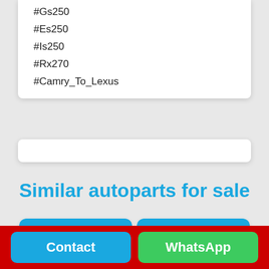#Gs250
#Es250
#Is250
#Rx270
#Camry_To_Lexus
Similar autoparts for sale
[Figure (other): Product card: Mazda 3 sedan 2014... with heart icon]
[Figure (other): Product card: TOYOTA VELLFIRE 2... with heart icon]
Contact
WhatsApp